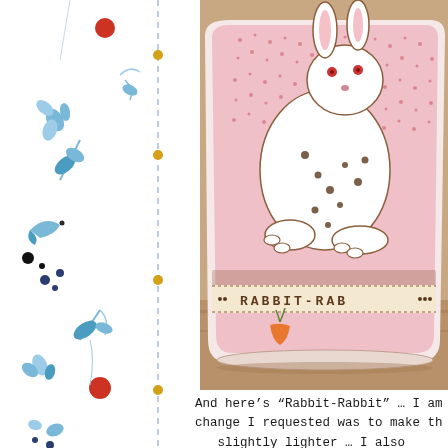[Figure (illustration): Decorative watercolor-style illustration strip on the left side of the page featuring blue botanical elements (flowers, leaves, branches), red berries/dots, a small bird, black dots, navy blue dots, and a vertical dashed blue line with small golden/orange dots along it.]
[Figure (photo): Close-up photograph of a ceramic mug with a pink/white rabbit design. The mug has a white rabbit silhouette on a pink stippled background with brown dots. Text around the base reads 'RABBIT-RABBIT'. A carrot motif is visible at the bottom. The mug sits on a wooden surface.]
And here’s “Rabbit-Rabbit” … I am change I requested was to make th slightly lighter … I also asked t their “toes” … I want